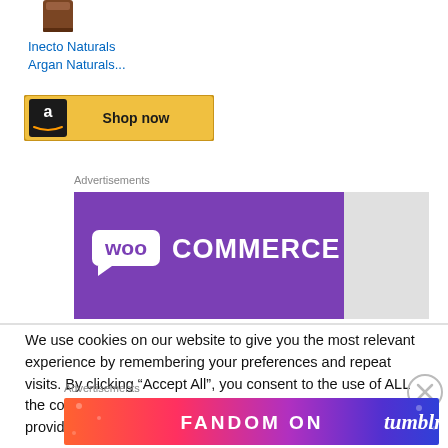[Figure (photo): Product image - a dark brown bottle/container (Inecto Naturals Argan)]
Inecto Naturals Argan Naturals...
[Figure (illustration): Amazon 'Shop now' button with Amazon logo on gold/yellow background]
Advertisements
[Figure (illustration): WooCommerce advertisement banner - purple background with WooCommerce logo in white]
We use cookies on our website to give you the most relevant experience by remembering your preferences and repeat visits. By clicking “Accept All”, you consent to the use of ALL the cookies. However, you may visit "Cookie Settings" to provide a controlled consent.
Advertisements
[Figure (illustration): Fandom on Tumblr advertisement banner with colorful gradient background and white text]